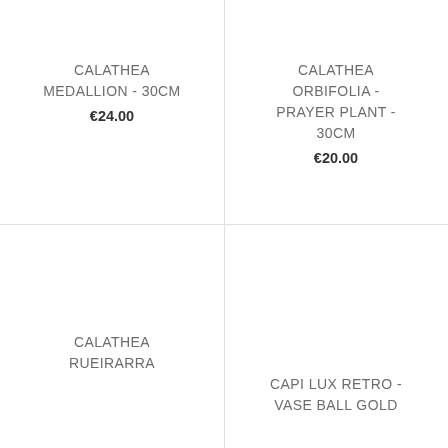CALATHEA MEDALLION - 30CM
€24.00
CALATHEA ORBIFOLIA - PRAYER PLANT - 30CM
€20.00
CALATHEA RUEIRARRA
CAPI LUX RETRO - VASE BALL GOLD